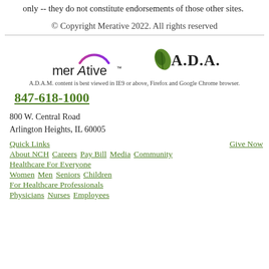only -- they do not constitute endorsements of those other sites.
© Copyright Merative 2022. All rights reserved
[Figure (logo): Merative logo with arc above text, and A.D.A.M. logo with leaf icon]
A.D.A.M. content is best viewed in IE9 or above, Firefox and Google Chrome browser.
847-618-1000
800 W. Central Road
Arlington Heights, IL 60005
Quick Links
Give Now
About NCH  Careers  Pay Bill  Media  Community
Healthcare For Everyone
Women  Men  Seniors  Children
For Healthcare Professionals
Physicians  Nurses  Employees